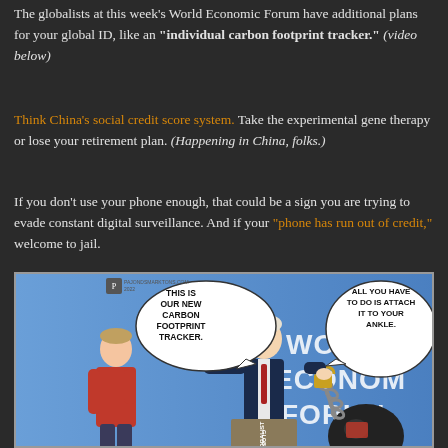The globalists at this week's World Economic Forum have additional plans for your global ID, like an "individual carbon footprint tracker." (video below)
Think China's social credit score system. Take the experimental gene therapy or lose your retirement plan. (Happening in China, folks.)
If you don't use your phone enough, that could be a sign you are trying to evade constant digital surveillance. And if your "phone has run out of credit," welcome to jail.
[Figure (illustration): Political cartoon showing a politician/globalist presenting a ball-and-chain ankle monitor to a young man, with speech bubbles. Left bubble: 'THIS IS OUR NEW CARBON FOOTPRINT TRACKER.' Right bubble: 'ALL YOU HAVE TO DO IS ATTACH IT TO YOUR ANKLE.' Background text reads 'WORLD ECONOMIC FORUM'. Labeled 'GLOBALIST' on podium. Site watermark: PAJONDSMARKTONS.COM 2022]